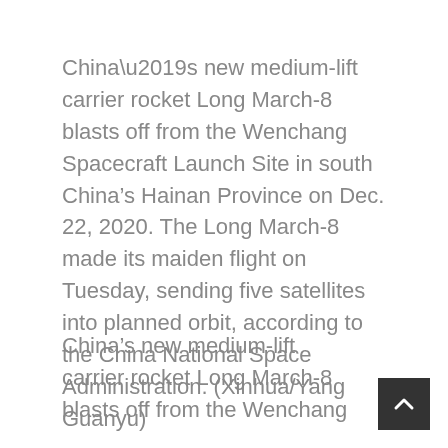China’s new medium-lift carrier rocket Long March-8 blasts off from the Wenchang Spacecraft Launch Site in south China’s Hainan Province on Dec. 22, 2020. The Long March-8 made its maiden flight on Tuesday, sending five satellites into planned orbit, according to the China National Space Administration. (Xinhua/Yang Guanyu)
China’s new medium-lift carrier rocket Long March-8 blasts off from the Wenchang